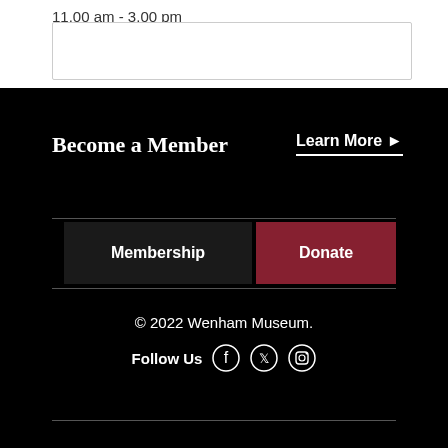11.00 am - 3.00 pm
Become a Member
Learn More ▶
Membership
Donate
© 2022 Wenham Museum.
Follow Us
© 2022 Wenham Museum. Follow Us